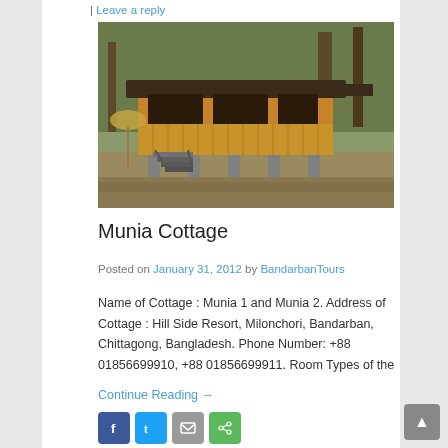| Leave a reply
[Figure (photo): A wooden cottage on stilts surrounded by trees, with stairs leading up to the entrance. The structure has wood-paneled walls and appears to be a forest resort cottage.]
Munia Cottage
Posted on January 31, 2012 by BandarbanTours
Name of Cottage : Munia 1 and Munia 2. Address of Cottage : Hill Side Resort, Milonchori, Bandarban, Chittagong, Bangladesh. Phone Number: +88 01856699910, +88 01856699911. Room Types of the
Continue Reading →